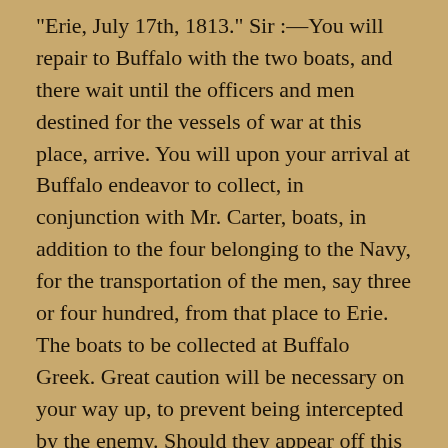"Erie, July 17th, 1813." Sir :—You will repair to Buffalo with the two boats, and there wait until the officers and men destined for the vessels of war at this place, arrive. You will upon your arrival at Buffalo endeavor to collect, in conjunction with Mr. Carter, boats, in addition to the four belonging to the Navy, for the transportation of the men, say three or four hundred, from that place to Erie. The boats to be collected at Buffalo Greek. Great caution will be necessary on your way up, to prevent being intercepted by the enemy. Should they appear off this harbor, I will send an express to Cattaraugus and the 20 mile creek, to give you information.
"Your most obefly. &c., "O. H. PERRY. "Saili...